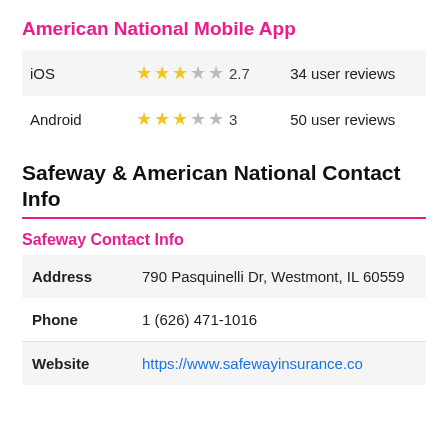American National Mobile App
|  | Rating | Reviews |
| --- | --- | --- |
| iOS | ★★★☆★ 2.7 | 34 user reviews |
| Android | ★★★☆★ 3 | 50 user reviews |
Safeway & American National Contact Info
Safeway Contact Info
| Field | Value |
| --- | --- |
| Address | 790 Pasquinelli Dr, Westmont, IL 60559 |
| Phone | 1 (626) 471-1016 |
| Website | https://www.safewayinsurance.co |